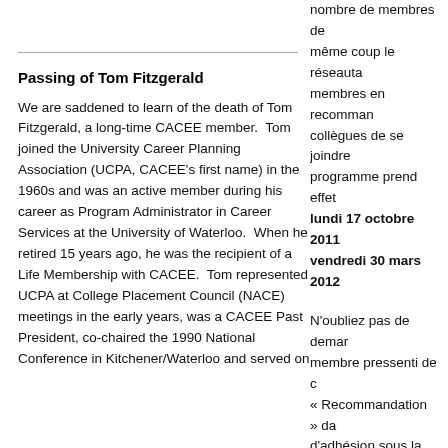nombre de membres de même coup le réseauta membres en recomman collègues de se joindre programme prend effet lundi 17 octobre 2011 vendredi 30 mars 2012
Passing of Tom Fitzgerald
We are saddened to learn of the death of Tom Fitzgerald, a long-time CACEE member.  Tom joined the University Career Planning Association (UCPA, CACEE's first name) in the 1960s and was an active member during his career as Program Administrator in Career Services at the University of Waterloo.  When he retired 15 years ago, he was the recipient of a Life Membership with CACEE.  Tom represented UCPA at College Placement Council (NACE) meetings in the early years, was a CACEE Past President, co-chaired the 1990 National Conference in Kitchener/Waterloo and served on
N'oubliez pas de demander membre pressenti de c « Recommandation » da d'adhésion sous la ques avez-vous entendu parl Puis demandez-lui d'ins au complet sous la me avez choisi le champ – Recommandation ou au fournir les coordonnée qui vous recommande.